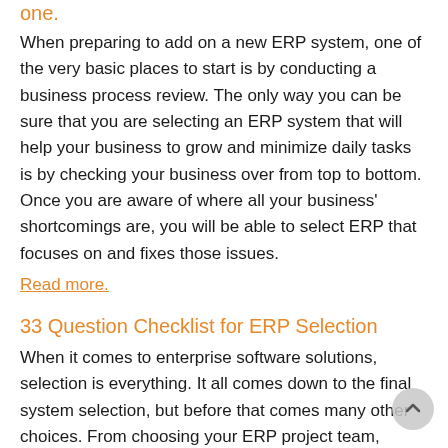one.
When preparing to add on a new ERP system, one of the very basic places to start is by conducting a business process review. The only way you can be sure that you are selecting an ERP system that will help your business to grow and minimize daily tasks is by checking your business over from top to bottom. Once you are aware of where all your business' shortcomings are, you will be able to select ERP that focuses on and fixes those issues.
Read more.
33 Question Checklist for ERP Selection
When it comes to enterprise software solutions, selection is everything. It all comes down to the final system selection, but before that comes many other choices. From choosing your ERP project team, evaluating your software options, choosing a vendor, and everything in between. It's a hassle, but it's worth it. By taking your time to methodically evaluate all of your options and